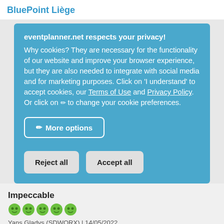BluePoint Liège
eventplanner.net respects your privacy! Why cookies? They are necessary for the functionality of our website and improve your browser experience, but they are also needed to integrate with social media and for marketing purposes. Click on 'I understand' to accept cookies, our Terms of Use and Privacy Policy. Or click on ✏ to change your cookie preferences.
More options
Reject all
Accept all
Impeccable
Yans Gladys (SDWORX) | 14/05/2022